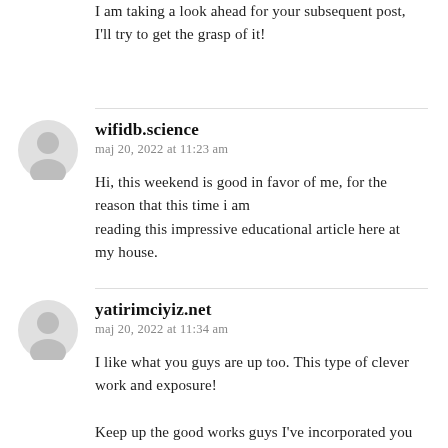I am taking a look ahead for your subsequent post, I'll try to get the grasp of it!
wifidb.science
maj 20, 2022 at 11:23 am

Hi, this weekend is good in favor of me, for the reason that this time i am reading this impressive educational article here at my house.
yatirimciyiz.net
maj 20, 2022 at 11:34 am

I like what you guys are up too. This type of clever work and exposure!

Keep up the good works guys I've incorporated you guys to my own blogroll.